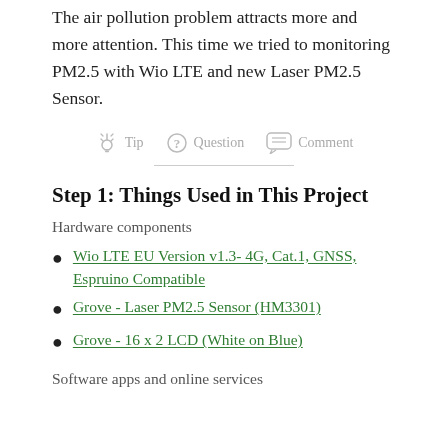The air pollution problem attracts more and more attention. This time we tried to monitoring PM2.5 with Wio LTE and new Laser PM2.5 Sensor.
[Figure (infographic): Row of interactive icons: lightbulb icon labeled Tip, question mark icon labeled Question, speech bubble icon labeled Comment]
Step 1: Things Used in This Project
Hardware components
Wio LTE EU Version v1.3- 4G, Cat.1, GNSS, Espruino Compatible
Grove - Laser PM2.5 Sensor (HM3301)
Grove - 16 x 2 LCD (White on Blue)
Software apps and online services